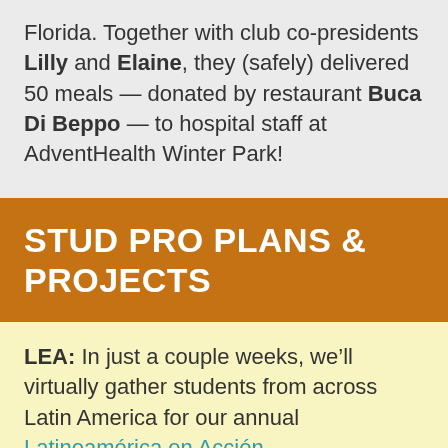Florida. Together with club co-presidents Lilly and Elaine, they (safely) delivered 50 meals — donated by restaurant Buca Di Beppo — to hospital staff at AdventHealth Winter Park!
STUD PRO PLANS & PROJECTS
LEA: In just a couple weeks, we'll virtually gather students from across Latin America for our annual Latinoamérica en Acción conference! Just like our International Student Leadership Conference but held in Spanish, high school and university